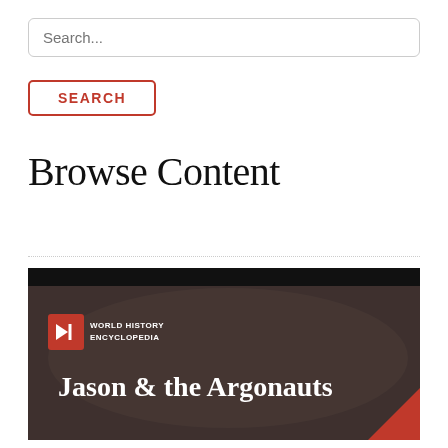Search...
SEARCH
Browse Content
[Figure (screenshot): World History Encyclopedia branded image showing Jason & the Argonauts title over a stone relief carving of figures. Red and white logo in upper left reads WORLD HISTORY ENCYCLOPEDIA.]